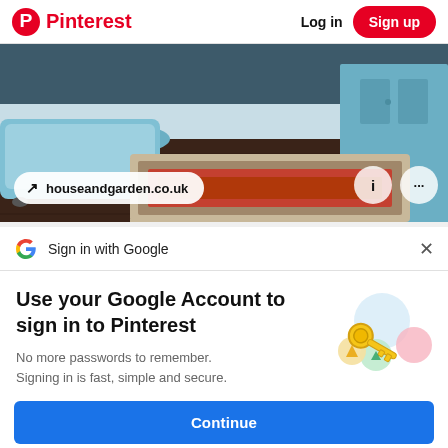Pinterest  Log in  Sign up
[Figure (screenshot): Bathroom interior with blue bathtub, wooden floor, and patterned rug. URL pill shows houseandgarden.co.uk with info and more buttons.]
Sign in with Google
Use your Google Account to sign in to Pinterest
No more passwords to remember. Signing in is fast, simple and secure.
[Figure (illustration): Google key illustration with colorful circles and a golden key]
Continue